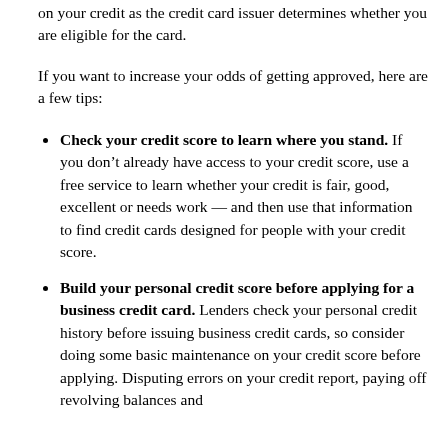on your credit as the credit card issuer determines whether you are eligible for the card.
If you want to increase your odds of getting approved, here are a few tips:
Check your credit score to learn where you stand. If you don’t already have access to your credit score, use a free service to learn whether your credit is fair, good, excellent or needs work — and then use that information to find credit cards designed for people with your credit score.
Build your personal credit score before applying for a business credit card. Lenders check your personal credit history before issuing business credit cards, so consider doing some basic maintenance on your credit score before applying. Disputing errors on your credit report, paying off revolving balances and